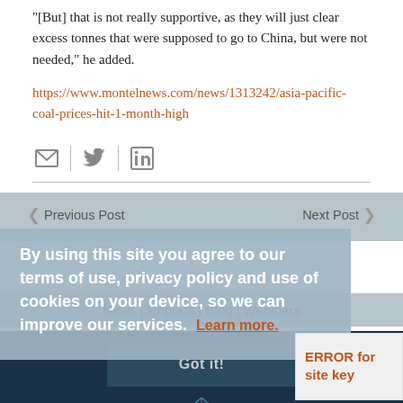[But] that is not really supportive, as they will just clear excess tonnes that were supposed to go to China, but were not needed," he added.
https://www.montelnews.com/news/1313242/asia-pacific-coal-prices-hit-1-month-high
[Figure (other): Social sharing icons: email, Twitter, LinkedIn with vertical dividers]
Previous Post
Next Post
By using this site you agree to our terms of use, privacy policy and use of cookies on your device, so we can improve our services.  Learn more.
News | Reports | Blog | Webinars
Got it!
ERROR for site key